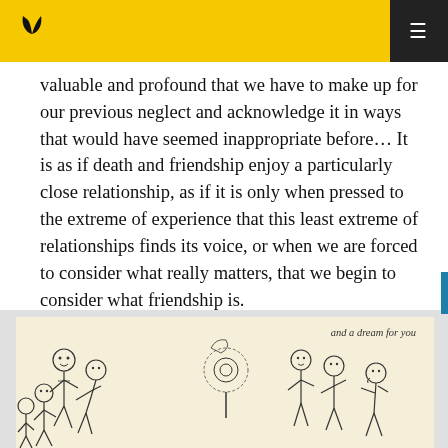Navigation bar with logo and menu
valuable and profound that we have to make up for our previous neglect and acknowledge it in ways that would have seemed inappropriate before… It is as if death and friendship enjoy a particularly close relationship, as if it is only when pressed to the extreme of experience that this least extreme of relationships finds its voice, or when we are forced to consider what really matters, that we begin to consider what friendship is.
[Figure (illustration): Children illustration from a book page, showing groups of cartoon-style children in black and white ink drawings. Text reads 'and a dream for you' in italic script at upper right of the illustration.]